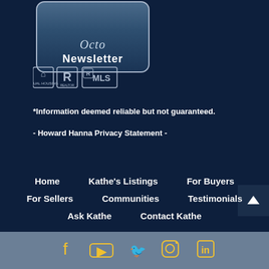[Figure (logo): Newsletter logo box with decorative script text and 'Newsletter' label in a rounded rectangle]
[Figure (logo): Equal Housing Opportunity, Realtor, and MLS logos]
*Information deemed reliable but not guaranteed.
- Howard Hanna Privacy Statement -
Home   Kathe's Listings   For Buyers   For Sellers   Communities   Testimonials   Ask Kathe   Contact Kathe
[Figure (logo): Social media icons: Facebook, YouTube, Twitter, Instagram, LinkedIn in yellow/gold color on steel blue footer bar]